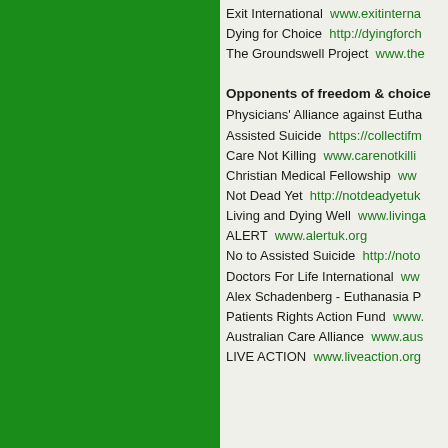Exit International  www.exitinterna...
Dying for Choice  http://dyingforch...
The Groundswell Project  www.the...
Opponents of freedom & choice
Physicians' Alliance against Eutha... Assisted Suicide  https://collectifm...
Care Not Killing  www.carenotkilli...
Christian Medical Fellowship  www....
Not Dead Yet  http://notdeadyetuk...
Living and Dying Well  www.livinga...
ALERT  www.alertuk.org
No to Assisted Suicide  http://noto...
Doctors For Life International  ww...
Alex Schadenberg - Euthanasia P...
Patients Rights Action Fund  www....
Australian Care Alliance  www.aus...
LIVE ACTION  www.liveaction.org